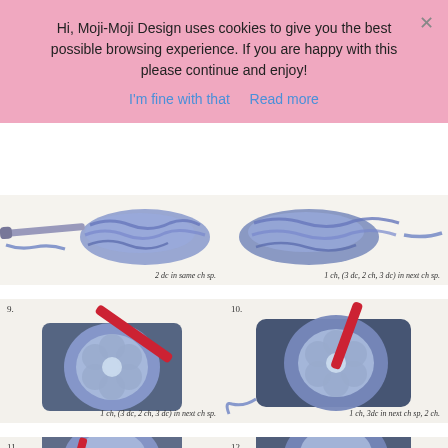Hi, Moji-Moji Design uses cookies to give you the best possible browsing experience. If you are happy with this please continue and enjoy!
I'm fine with that   Read more
[Figure (photo): Crochet granny square step - 2 dc in same ch sp, showing blue/periwinkle yarn with hook, partial view]
[Figure (photo): Crochet granny square step - 1 ch, (3 dc, 2 ch, 3 dc) in next ch sp, blue yarn]
[Figure (photo): Step 9: Crochet granny square with red hook - 1 ch, (3 dc, 2 ch, 3 dc) in next ch sp, dark blue outer round]
[Figure (photo): Step 10: Crochet granny square with red hook - 1 ch, 3dc in next ch sp, 2 ch, completed square showing dark blue border]
[Figure (photo): Step 11: Crochet granny square partial view with red hook]
[Figure (photo): Step 12: Crochet granny square partial view]